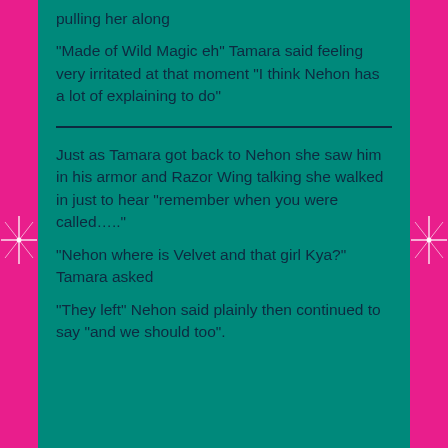pulling her along
“Made of Wild Magic eh” Tamara said feeling very irritated at that moment “I think Nehon has a lot of explaining to do”
Just as Tamara got back to Nehon she saw him in his armor and Razor Wing talking she walked in just to hear “remember when you were called…..”
“Nehon where is Velvet and that girl Kya?” Tamara asked
“They left” Nehon said plainly then continued to say “and we should too”.